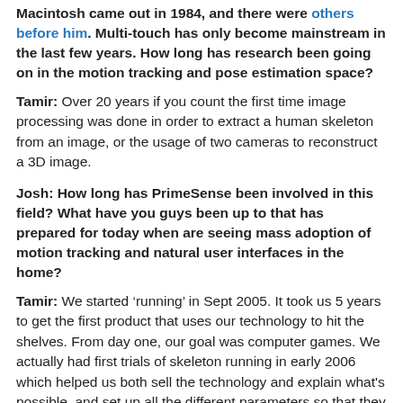Macintosh came out in 1984, and there were others before him. Multi-touch has only become mainstream in the last few years. How long has research been going on in the motion tracking and pose estimation space?
Tamir: Over 20 years if you count the first time image processing was done in order to extract a human skeleton from an image, or the usage of two cameras to reconstruct a 3D image.
Josh: How long has PrimeSense been involved in this field? What have you guys been up to that has prepared for today when are seeing mass adoption of motion tracking and natural user interfaces in the home?
Tamir: We started ‘running’ in Sept 2005. It took us 5 years to get the first product that uses our technology to hit the shelves. From day one, our goal was computer games. We actually had first trials of skeleton running in early 2006 which helped us both sell the technology and explain what's possible, and set up all the different parameters so that they will fit best to the usage in the living room domain and even